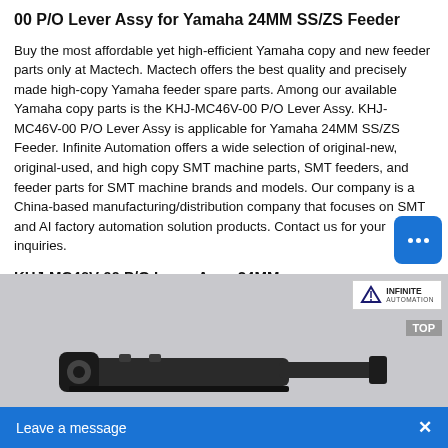00 P/O Lever Assy for Yamaha 24MM SS/ZS Feeder
Buy the most affordable yet high-efficient Yamaha copy and new feeder parts only at Mactech. Mactech offers the best quality and precisely made high-copy Yamaha feeder spare parts. Among our available Yamaha copy parts is the KHJ-MC46V-00 P/O Lever Assy. KHJ-MC46V-00 P/O Lever Assy is applicable for Yamaha 24MM SS/ZS Feeder. Infinite Automation offers a wide selection of original-new, original-used, and high copy SMT machine parts, SMT feeders, and feeder parts for SMT machine brands and models. Our company is a China-based manufacturing/distribution company that focuses on SMT and AI factory automation solution products. Contact us for your inquiries.
KHJ-MC46V-00 P/O Lever Assy 24MM
[Figure (photo): Photo of KHJ-MC46V-00 P/O Lever Assy 24MM part — a black plastic/metal lever assembly component — displayed on a light gray background. The Infinite Automation logo badge and a TOP label appear in the upper right corner of the image. A chat button and 'Leave a message' bar overlay the bottom.]